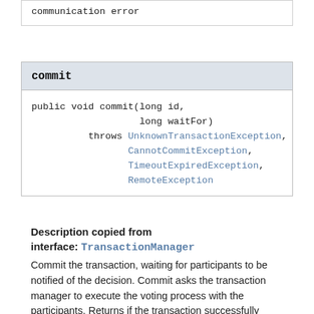communication error
commit
public void commit(long id,
                   long waitFor)
          throws UnknownTransactionException,
                 CannotCommitException,
                 TimeoutExpiredException,
                 RemoteException
Description copied from interface: TransactionManager
Commit the transaction, waiting for participants to be notified of the decision. Commit asks the transaction manager to execute the voting process with the participants. Returns if the transaction successfully reaches either the NOTCHANGED or the COMMITTED state, and the transaction manager has notified all participants of the decision, before the specified timeout expires. If the transaction must be aborted